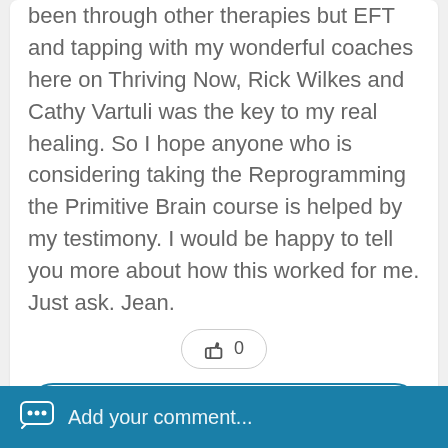been through other therapies but EFT and tapping with my wonderful coaches here on Thriving Now, Rick Wilkes and Cathy Vartuli was the key to my real healing. So I hope anyone who is considering taking the Reprogramming the Primitive Brain course is helped by my testimony. I would be happy to tell you more about how this worked for me. Just ask. Jean.
[Figure (other): Like button with thumbs up icon and count 0, inside a rounded pill-shaped border]
[Figure (other): Reply to Jean button with reply arrow icon, inside a rounded pill-shaped border with teal outline]
[Figure (other): Add your comment bar at the bottom in teal/blue background with chat bubble icon and white text]